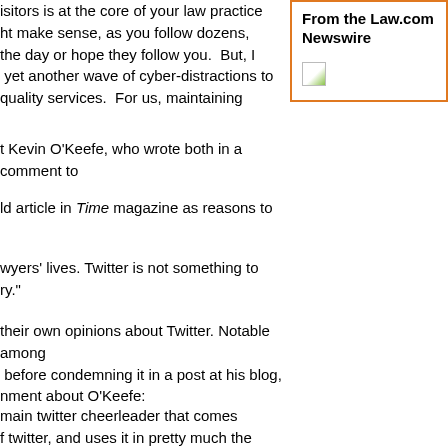isitors is at the core of your law practice ht make sense, as you follow dozens, the day or hope they follow you.  But, I  yet another wave of cyber-distractions to quality services.  For us, maintaining
From the Law.com Newswire
[Figure (illustration): Small broken image icon]
t Kevin O'Keefe, who wrote both in a comment to
ld article in Time magazine as reasons to
wyers' lives. Twitter is not something to ry."
their own opinions about Twitter. Notable among  before condemning it in a post at his blog, nment about O'Keefe:
main twitter cheerleader that comes f twitter, and uses it in pretty much the y, and its almost invariably about a new ers Have Blogs.  He markets. And eting successes, large and small.  Kevin